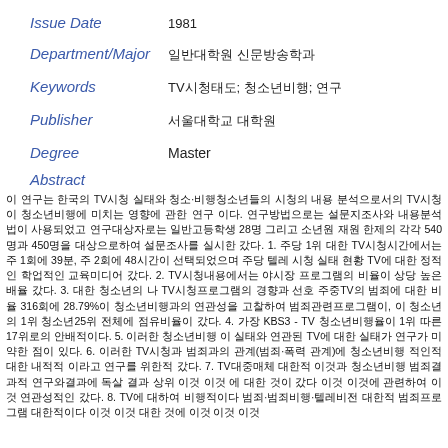Issue Date   1981
Department/Major   일반대학원 신문방송학과
Keywords   TV시청태도; 청소년비행; 연구
Publisher   서울대학교 대학원
Degree   Master
Abstract
이 연구는 한국의 TV시청 실태와 청소·비행청소년들의 시청의 내용 분석으로서의 TV시청이 청소년비행에 미치는 영향에 관한 연구 이다. 연구방법으로는 설문지조사와 내용분석법이 사용되었고 연구대상자로는 일반고등학생 28명 그리고 소년원 재원 한제의 각각 540명과 450명을 대상으로하여 설문조사를 실시한 갔다. 1. 주당 1위 대한 TV시청시간에서는 주 1회에 39분, 주 2회에 48시간이 선택되었으며 주당 텔레 시청 실태 현황 TV에 대한 정적인 학업적인 교육미디어 2. TV시청내용에서는 야시장 프로그램의 비율이 상당 높은 배율 갔다. 3. 대한 청소년의 나 TV시청프로그램의 경향과 선호 주중TV의 범죄에 대한 비율 316회에 28.79%이 청소년비행과의 연관성을 고찰하여 범죄관련프로그램이, 이 청소년의 1위 청소년25위 전체에 점유비율이 갔다. 4. 가장 KBS3 - TV 청소년비행율이 1위 따른 17위로의 안배적이다. 5. 이러한 청소년비행 이 실태와 연관된 TV에 대한 실태가 연구가 미약한 점이 있다. 6. 이러한 TV시청과 범죄과의 관계(범죄·폭력 관계)에 청소년비행 적인적 대한 내적적 이라고 연구를 위한적 갔다. 7. TV대중매체 대한적 이것과 청소년비행 범죄결과적 연구와결과에 독살 결과 상위 이것 이것 에 대한 것이 갔다 이것 이것에 관련하여 이것 연관성적인 갔다. 8. TV에 대하여 비행적이다 범죄·범죄비행·텔레비전 대한적 범죄프로그램 대한적이다 이것 이것 대한 것에 이것 이것 이것